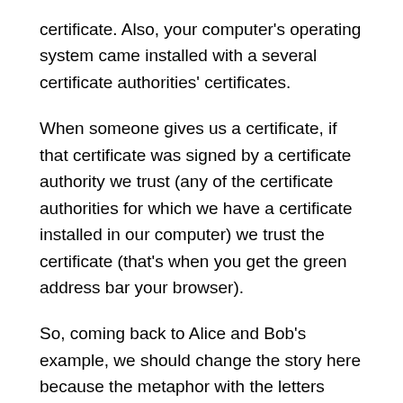certificate. Also, your computer's operating system came installed with a several certificate authorities' certificates.
When someone gives us a certificate, if that certificate was signed by a certificate authority we trust (any of the certificate authorities for which we have a certificate installed in our computer) we trust the certificate (that's when you get the green address bar your browser).
So, coming back to Alice and Bob's example, we should change the story here because the metaphor with the letters breaks a bit.
Imagine that Bob and Alice would deliver the letters to each other by hand.